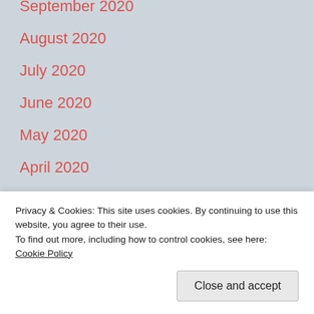September 2020
August 2020
July 2020
June 2020
May 2020
April 2020
March 2020
February 2020
January 2020
Privacy & Cookies: This site uses cookies. By continuing to use this website, you agree to their use. To find out more, including how to control cookies, see here: Cookie Policy
September 2019